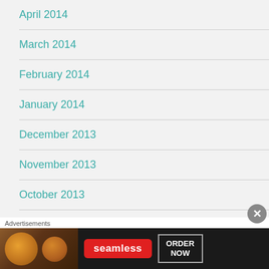April 2014
March 2014
February 2014
January 2014
December 2013
November 2013
October 2013
September 2013
August 2013
July 2013
Advertisements
[Figure (other): Seamless food ordering advertisement banner with pizza image, Seamless logo and ORDER NOW button]